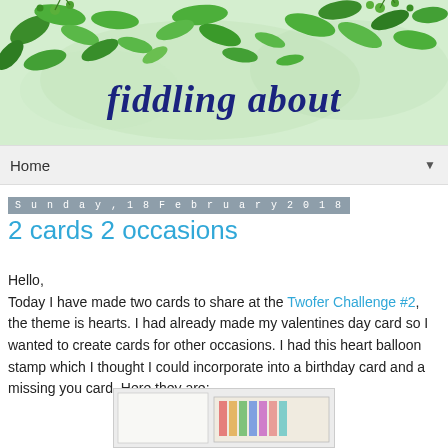[Figure (illustration): Blog header banner with watercolor green leaves and the blog title 'fiddling about' in dark blue cursive script]
Home ▼
Sunday, 18 February 2018
2 cards 2 occasions
Hello,
Today I have made two cards to share at the Twofer Challenge #2, the theme is hearts. I had already made my valentines day card so I wanted to create cards for other occasions. I had this heart balloon stamp which I thought I could incorporate into a birthday card and a missing you card. Here they are:
[Figure (photo): Partial view of a handmade greeting card at the bottom of the page]